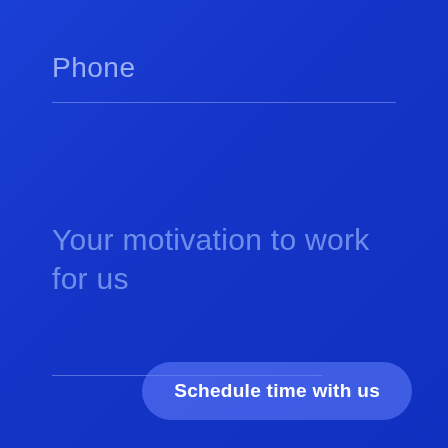Phone
Your motivation to work for us
Schedule time with us